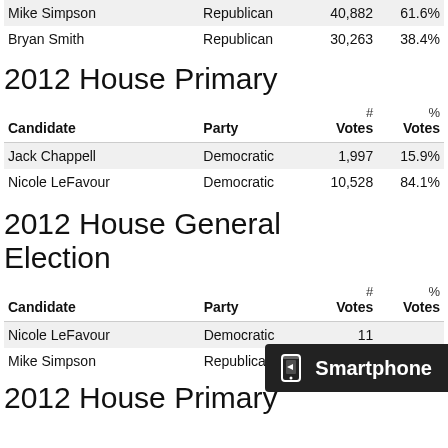| Candidate | Party | # Votes | % Votes |
| --- | --- | --- | --- |
| Mike Simpson | Republican | 40,882 | 61.6% |
| Bryan Smith | Republican | 30,263 | 38.4% |
2012 House Primary
| Candidate | Party | # Votes | % Votes |
| --- | --- | --- | --- |
| Jack Chappell | Democratic | 1,997 | 15.9% |
| Nicole LeFavour | Democratic | 10,528 | 84.1% |
2012 House General Election
| Candidate | Party | # Votes | % Votes |
| --- | --- | --- | --- |
| Nicole LeFavour | Democratic | 11,??? |  |
| Mike Simpson | Republican | 20,??? |  |
2012 House Primary